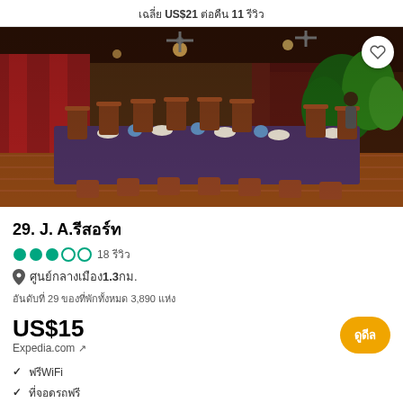เฉลี่ย US$21 ต่อคืน 11 รีวิว
[Figure (photo): Interior of a restaurant with long dining tables covered in dark purple/brown tablecloths, wooden chairs, ceiling fans, indoor plants, and warm lighting. A stage with red curtains is visible in the background.]
29. J. A.รีสอร์ท
●●●○○ 18 รีวิว
📍 ศูนย์กลางเมือง1.3กม.
อันดับที่ 29 ของที่พักทั้งหมด 3,890 แห่ง
US$15
Expedia.com ↗
ดูดีล
✓ ฟรีWiFi
✓ ที่จอดรถฟรี